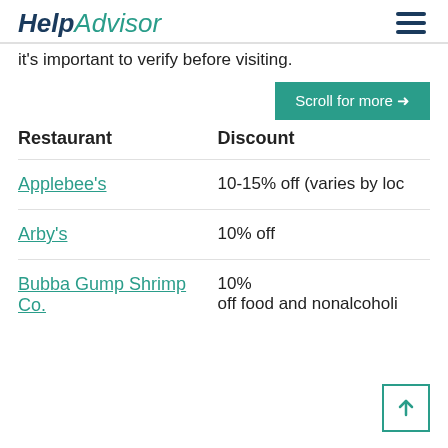HelpAdvisor
it's important to verify before visiting.
Scroll for more →
| Restaurant | Discount |
| --- | --- |
| Applebee's | 10-15% off (varies by loc |
| Arby's | 10% off |
| Bubba Gump Shrimp Co. | 10% off food and nonalcoholi |